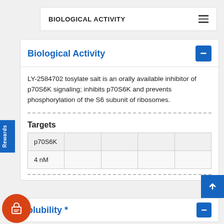BIOLOGICAL ACTIVITY
Biological Activity
LY-2584702 tosylate salt is an orally available inhibitor of p70S6K signaling; inhibits p70S6K and prevents phosphorylation of the S6 subunit of ribosomes.
Targets
| p70S6K |  |  |  |  |
| 4 nM |  |  |  |  |
olubility *